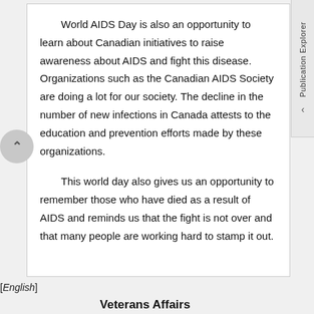World AIDS Day is also an opportunity to learn about Canadian initiatives to raise awareness about AIDS and fight this disease. Organizations such as the Canadian AIDS Society are doing a lot for our society. The decline in the number of new infections in Canada attests to the education and prevention efforts made by these organizations.
This world day also gives us an opportunity to remember those who have died as a result of AIDS and reminds us that the fight is not over and that many people are working hard to stamp it out.
[English]
Veterans Affairs